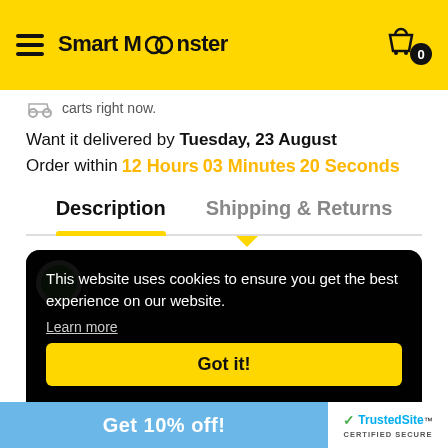Smart Monster
carts right now.
Want it delivered by Tuesday, 23 August
Order within 12 Hours 03 Minutes 20 Seconds
Description | Shipping & Returns
[Figure (screenshot): Cookie consent overlay on a dark background showing a partial product image. Text reads: This website uses cookies to ensure you get the best experience on our website. Learn more. Got it! button in yellow.]
Get 10% off!
[Figure (logo): TrustedSite CERTIFIED SECURE badge]